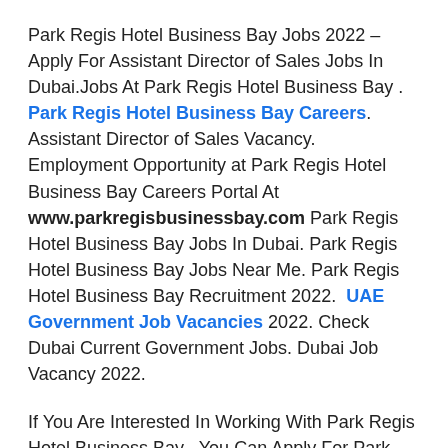Park Regis Hotel Business Bay Jobs 2022 – Apply For Assistant Director of Sales Jobs In Dubai.Jobs At Park Regis Hotel Business Bay . Park Regis Hotel Business Bay Careers. Assistant Director of Sales Vacancy. Employment Opportunity at Park Regis Hotel Business Bay Careers Portal At www.parkregisbusinessbay.com Park Regis Hotel Business Bay Jobs In Dubai. Park Regis Hotel Business Bay Jobs Near Me. Park Regis Hotel Business Bay Recruitment 2022.  UAE Government Job Vacancies 2022. Check Dubai Current Government Jobs. Dubai Job Vacancy 2022.
If You Are Interested In Working With Park Regis Hotel Business Bay , You Can Apply For Park Regis Hotel Business Bay Jobs With The Help Of